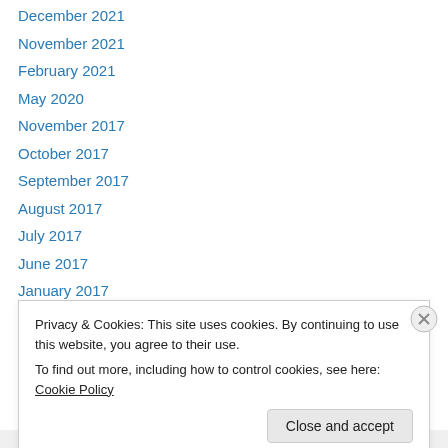December 2021
November 2021
February 2021
May 2020
November 2017
October 2017
September 2017
August 2017
July 2017
June 2017
January 2017
October 2016
September 2016
Privacy & Cookies: This site uses cookies. By continuing to use this website, you agree to their use.
To find out more, including how to control cookies, see here: Cookie Policy